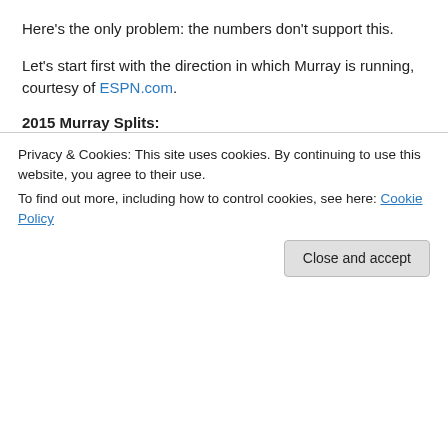Here's the only problem: the numbers don't support this.
Let's start first with the direction in which Murray is running, courtesy of ESPN.com.
2015 Murray Splits:
| Play Direction | Att | Yds | Avg | Lng | TD |
| --- | --- | --- | --- | --- | --- |
| Right Side | 21 | 59 | 2.8 | 9 | 0 |
| Left Side | 22 | 74 | 3.4 | 21 | 0 |
| Middle | 50 | 220 | 4.4 | 30 | 1 |
Privacy & Cookies: This site uses cookies. By continuing to use this website, you agree to their use. To find out more, including how to control cookies, see here: Cookie Policy